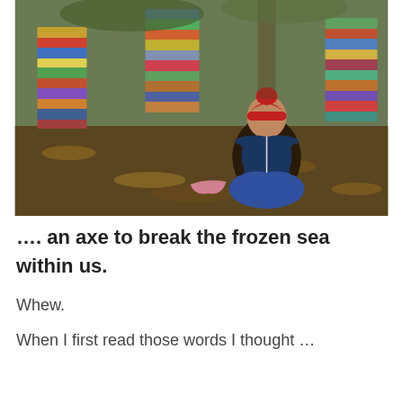[Figure (photo): A child wearing a red hat sits cross-legged on a forest floor covered in autumn leaves, reading an open book. Tall stacks of colorful books surround the child on multiple sides against a backdrop of trees and foliage.]
…. an axe to break the frozen sea within us.
Whew.
When I first read those words I thought …